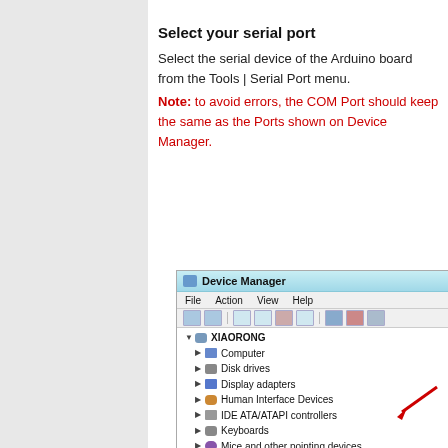Select your serial port
Select the serial device of the Arduino board from the Tools | Serial Port menu.
Note: to avoid errors, the COM Port should keep the same as the Ports shown on Device Manager.
[Figure (screenshot): Windows Device Manager window showing tree with XIAORONG computer, various device categories including Ports (COM & LPT) expanded to show Arduino Uno (COM3), with a red arrow pointing to it.]